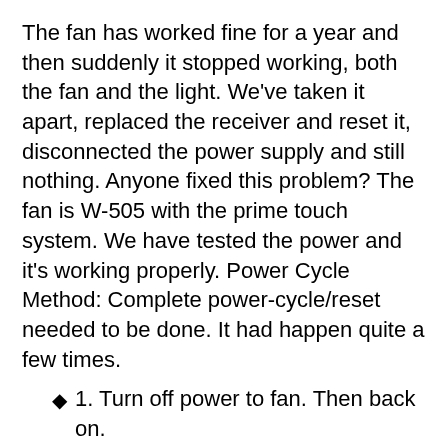The fan has worked fine for a year and then suddenly it stopped working, both the fan and the light. We've taken it apart, replaced the receiver and reset it, disconnected the power supply and still nothing. Anyone fixed this problem? The fan is W-505 with the prime touch system. We have tested the power and it's working properly. Power Cycle Method: Complete power-cycle/reset needed to be done. It had happen quite a few times.
1. Turn off power to fan. Then back on.
2. Using remote cycle the following fan buttons from high to med to low, then from low to med to high again. That 'should' fix the problem.
This solution should work without a problem, Casa AdvanTouch remote. After cycling through the fan speeds, hitting the light button will solve your Casablana fan problem. Do not forget to follow step in removing batteries